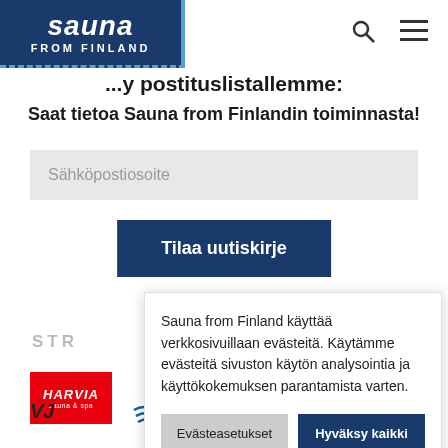Sauna from Finland
...y postituslistallemme:
Saat tietoa Sauna from Finlandin toiminnasta!
Sähköpostiosoite
Tilaa uutiskirje
Sauna from Finland käyttää verkkosivuillaan evästeitä. Käytämme evästeitä sivuston käytön analysointia ja käyttökokemuksen parantamista varten.
Evästeasetukset
Hyväksy kaikki
[Figure (logo): Harvia logo - red background with white italic text]
[Figure (logo): Sun/waves logo - orange and blue circular design]
STR
VJ
REGION
CAPITAL TAMPERE · FINLAND